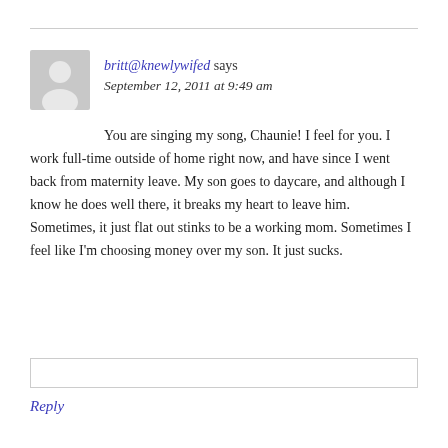britt@knewlywifed says
September 12, 2011 at 9:49 am
You are singing my song, Chaunie! I feel for you. I work full-time outside of home right now, and have since I went back from maternity leave. My son goes to daycare, and although I know he does well there, it breaks my heart to leave him. Sometimes, it just flat out stinks to be a working mom. Sometimes I feel like I'm choosing money over my son. It just sucks.
Reply